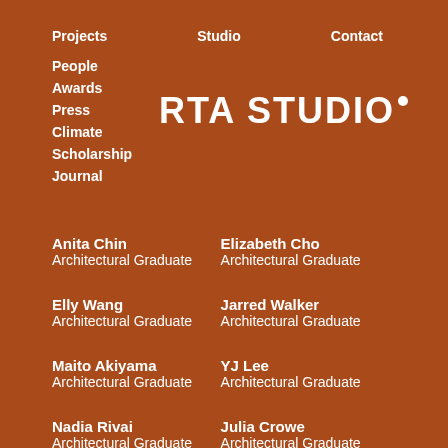Projects   Studio   Contact
People
Awards
Press
Climate
Scholarship
Journal
[Figure (logo): RTA STUDIO logo with white dot superscript]
Anita Chin
Architectural Graduate
Elizabeth Cho
Architectural Graduate
Elly Wang
Architectural Graduate
Jarred Walker
Architectural Graduate
Maito Akiyama
Architectural Graduate
YJ Lee
Architectural Graduate
Nadia Rivai
Architectural Graduate
Julia Crowe
Architectural Graduate